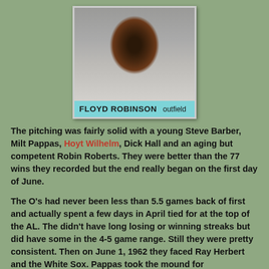[Figure (photo): Vintage baseball card of Floyd Robinson showing his portrait photo on top and a light blue name bar reading 'FLOYD ROBINSON outfield']
The pitching was fairly solid with a young Steve Barber, Milt Pappas, Hoyt Wilhelm, Dick Hall and an aging but competent Robin Roberts. They were better than the 77 wins they recorded but the end really began on the first day of June.
The O's had never been less than 5.5 games back of first and actually spent a few days in April tied for at the top of the AL. The didn't have long losing or winning streaks but did have some in the 4-5 game range. Still they were pretty consistent. Then on June 1, 1962 they faced Ray Herbert and the White Sox. Pappas took the mound for